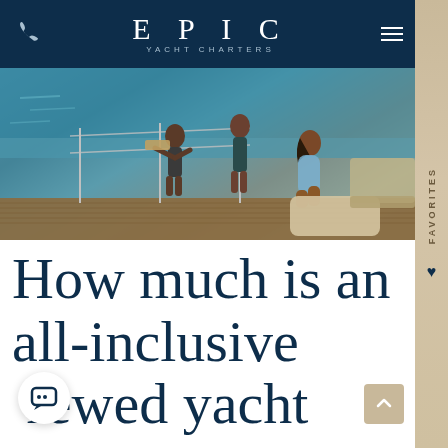[Figure (screenshot): Epic Yacht Charters website screenshot showing navigation bar with phone icon, EPIC YACHT CHARTERS logo, hamburger menu and search icon on dark navy background, with a hero photo of people on a yacht deck, a FAVORITES sidebar tab on the right, and a large headline 'How much is an all-inclusive crewed yacht charter?' below the image. A chat bubble icon and scroll-to-top button are visible at the bottom.]
How much is an all-inclusive crewed yacht charter?